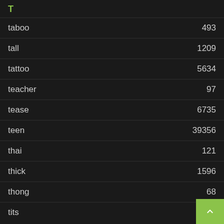T
| term | count |
| --- | --- |
| taboo | 493 |
| tall | 1209 |
| tattoo | 5634 |
| teacher | 97 |
| tease | 6735 |
| teen | 39356 |
| thai | 121 |
| thick | 1596 |
| thong | 68 |
| tits | 7872 |
U
| term | count |
| --- | --- |
| ugly | 34 |
| upskirt | 17378 |
V
vibrator